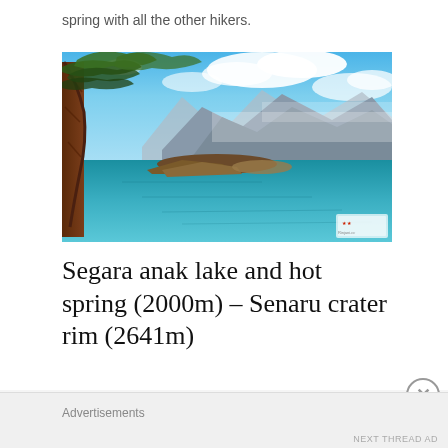spring with all the other hikers.
[Figure (photo): Photograph of Segara Anak lake with turquoise-blue water, rocky shoreline with trees on the left, mountains and clouds in the background. Small watermark logo in bottom-right corner.]
Segara anak lake and hot spring (2000m) – Senaru crater rim (2641m)
Advertisements